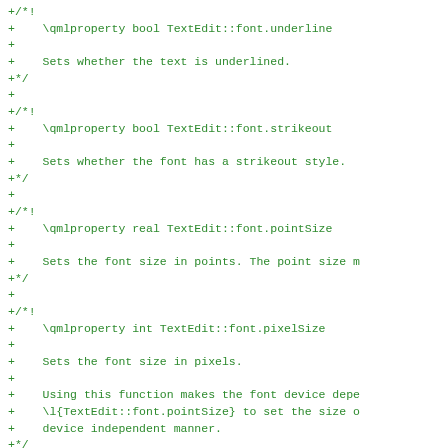+/*!
+    \qmlproperty bool TextEdit::font.underline
+
+    Sets whether the text is underlined.
+*/
+
+/*!
+    \qmlproperty bool TextEdit::font.strikeout
+
+    Sets whether the font has a strikeout style.
+*/
+
+/*!
+    \qmlproperty real TextEdit::font.pointSize
+
+    Sets the font size in points. The point size m
+*/
+
+/*!
+    \qmlproperty int TextEdit::font.pixelSize
+
+    Sets the font size in pixels.
+
+    Using this function makes the font device depe
+    \l{TextEdit::font.pointSize} to set the size o
+    device independent manner.
+*/
+
+/*!
+    \qmlproperty real TextEdit::font.letterSpacing